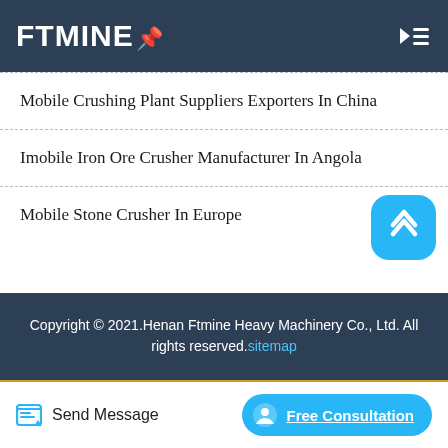FTMINE
Mobile Crushing Plant Suppliers Exporters In China
Imobile Iron Ore Crusher Manufacturer In Angola
Mobile Stone Crusher In Europe
Portable Mobile Cone Crusher Plant Manufacturer
Copyright © 2021.Henan Ftmine Heavy Machinery Co., Ltd. All rights reserved. sitemap
Send Message
Free Consultation